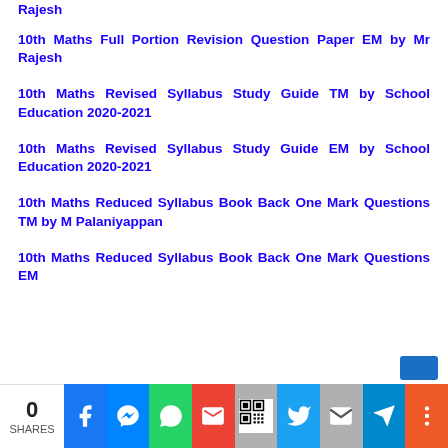Rajesh
10th Maths Full Portion Revision Question Paper EM by Mr Rajesh
10th Maths Revised Syllabus Study Guide TM by School Education 2020-2021
10th Maths Revised Syllabus Study Guide EM by School Education 2020-2021
10th Maths Reduced Syllabus Book Back One Mark Questions TM by M Palaniyappan
10th Maths Reduced Syllabus Book Back One Mark Questions EM